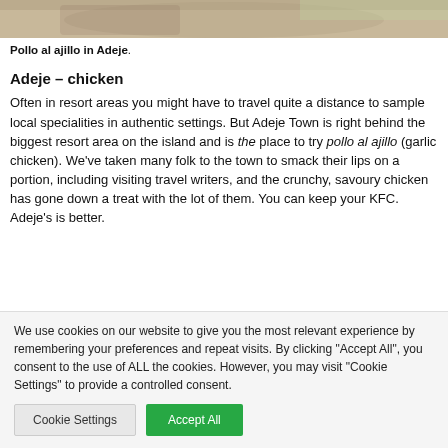[Figure (photo): Partial photo of pollo al ajillo dish, cropped at top showing food]
Pollo al ajillo in Adeje.
Adeje – chicken
Often in resort areas you might have to travel quite a distance to sample local specialities in authentic settings. But Adeje Town is right behind the biggest resort area on the island and is the place to try pollo al ajillo (garlic chicken). We've taken many folk to the town to smack their lips on a portion, including visiting travel writers, and the crunchy, savoury chicken has gone down a treat with the lot of them. You can keep your KFC. Adeje's is better.
We use cookies on our website to give you the most relevant experience by remembering your preferences and repeat visits. By clicking "Accept All", you consent to the use of ALL the cookies. However, you may visit "Cookie Settings" to provide a controlled consent.